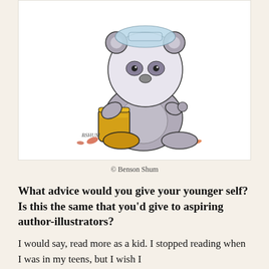[Figure (illustration): Cartoon illustration of a panda bear wearing yellow rain boots, sitting among autumn leaves, looking upward. Signed 'BSHUM' in the lower left corner.]
© Benson Shum
What advice would you give your younger self? Is this the same that you'd give to aspiring author-illustrators?
I would say, read more as a kid. I stopped reading when I was in my teens, but I wish I had continued. Because someone who loves...